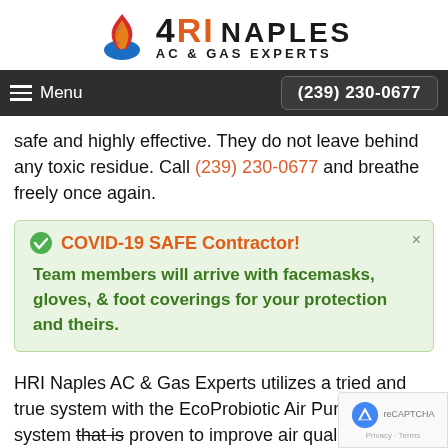[Figure (logo): HRI Naples AC & Gas Experts logo with flame icon]
Menu  (239) 230-0677
safe and highly effective. They do not leave behind any toxic residue. Call (239) 230-0677 and breathe freely once again.
COVID-19 SAFE Contractor!  Team members will arrive with facemasks, gloves, & foot coverings for your protection and theirs.
HRI Naples AC & Gas Experts utilizes a tried and true system with the EcoProbiotic Air Purification system that is proven to improve air quality. When we are called to improve air quality, the result is the removal of allergens from your Marco Island professional building or dwelling